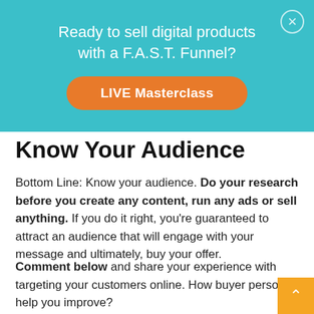[Figure (infographic): Teal/cyan banner advertisement with text 'Ready to sell digital products with a F.A.S.T. Funnel?' and an orange 'LIVE Masterclass' call-to-action button, with a close (X) button in the top-right corner.]
Know Your Audience
Bottom Line: Know your audience. Do your research before you create any content, run any ads or sell anything. If you do it right, you're guaranteed to attract an audience that will engage with your message and ultimately, buy your offer.
Comment below and share your experience with targeting your customers online. How buyer personas help you improve?